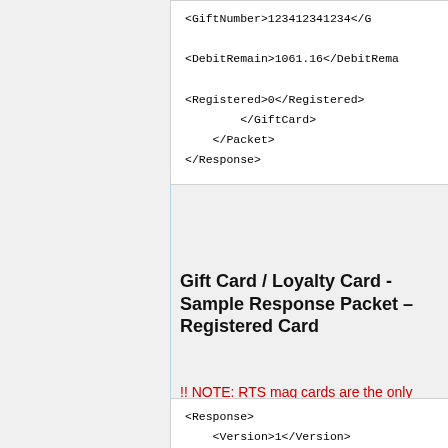<GiftNumber>123412341234</GiftNumber>
<DebitRemain>1061.16</DebitRemain>
<Registered>0</Registered>
</GiftCard>
</Packet>
</Response>
Gift Card / Loyalty Card - Sample Response Packet – Registered Card
!! NOTE: RTS mag cards are the only type that will return registration data !!
<Response>
    <Version>1</Version>
    <Code>-1</Code>
    <Packet>